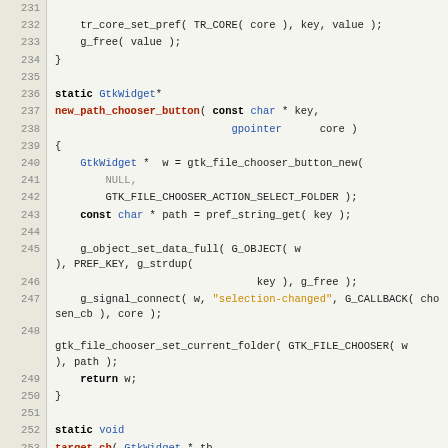[Figure (screenshot): Source code listing in C with syntax highlighting, line numbers 231-257, showing functions new_path_chooser_button and target_cb using GTK library calls]